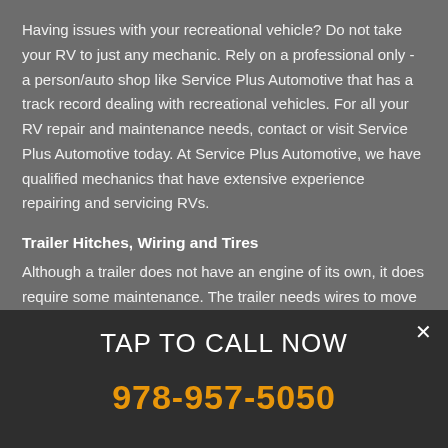Having issues with your recreational vehicle? Do not take your RV to just any mechanic. Rely on a professional only - a person/auto shop like Service Plus Automotive that has a track record dealing with recreational vehicles. For all your RV repair and maintenance needs, contact or visit Service Plus Automotive today. At Service Plus Automotive, we have qualified mechanics that have extensive experience repairing and servicing RVs.
Trailer Hitches, Wiring and Tires
Although a trailer does not have an engine of its own, it does require some maintenance. The trailer needs wires to move current to the brake lights and other lights at the back. Service Plus Automotive has qualified and experienced electricians who will handle your trailer maintenance. Call at ... 5050 to schedule an appointment.
TAP TO CALL NOW
978-957-5050